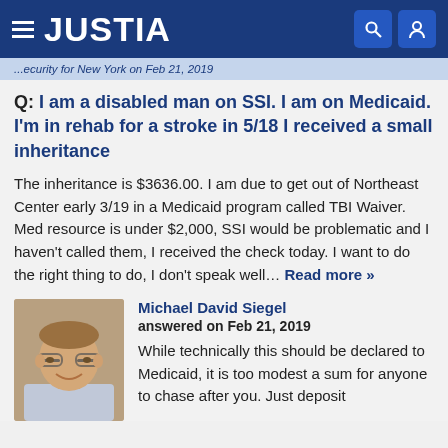JUSTIA
...ecurity for New York on Feb 21, 2019
Q: I am a disabled man on SSI. I am on Medicaid. I'm in rehab for a stroke in 5/18 I received a small inheritance
The inheritance is $3636.00. I am due to get out of Northeast Center early 3/19 in a Medicaid program called TBI Waiver. Med resource is under $2,000, SSI would be problematic and I haven't called them, I received the check today. I want to do the right thing to do, I don't speak well... Read more »
Michael David Siegel
answered on Feb 21, 2019
While technically this should be declared to Medicaid, it is too modest a sum for anyone to chase after you. Just deposit